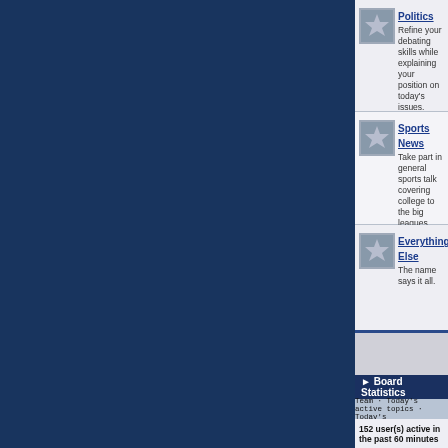Politics - Refine your debating skills while explaining your position on today's issues.
Sports News - Take part in general sports talk covering college to the big leagues.
Everything Else - The name says it all.
Board Statistics
Team · Today's active topics · Today's
152 user(s) active in the past 60 minutes
150 guests, 2 members, 0 anonymous members
rosettazz60, Leodc
Legend: Administrators | Collector Zone Team | | P Members | Restricted Members | Banned Members
Show detailed by: Last Click, Member Name
7 members online today